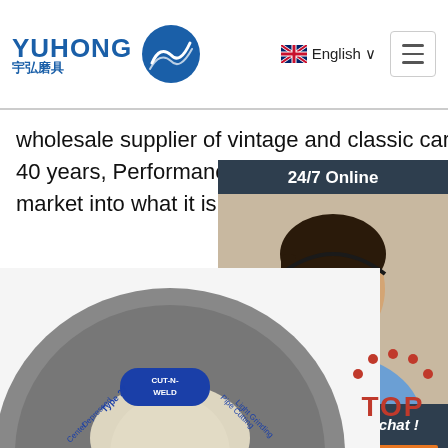[Figure (logo): Yuhong logo with blue wave icon and Chinese text 宇弘磨具]
English ∨
wholesale supplier of vintage and classic car wheels. With a history of almost 40 years, Performance W Australia has helped shape the vintage and c wheel market into what it is today. Featured W
[Figure (photo): Customer service representative with headset, 24/7 Online chat widget with QUOTATION button]
Get Price
[Figure (photo): Cut-N-Weld Type 27 Depressed Center pipe cutting and light grinding wheel product photo]